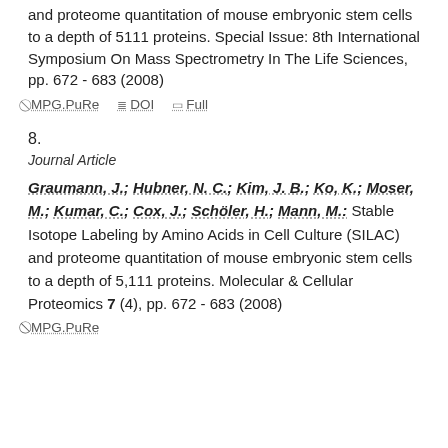and proteome quantitation of mouse embryonic stem cells to a depth of 5111 proteins. Special Issue: 8th International Symposium On Mass Spectrometry In The Life Sciences, pp. 672 - 683 (2008)
MPG.PuRe  DOI  Full
8.
Journal Article
Graumann, J.; Hubner, N. C.; Kim, J. B.; Ko, K.; Moser, M.; Kumar, C.; Cox, J.; Schöler, H.; Mann, M.: Stable Isotope Labeling by Amino Acids in Cell Culture (SILAC) and proteome quantitation of mouse embryonic stem cells to a depth of 5,111 proteins. Molecular & Cellular Proteomics 7 (4), pp. 672 - 683 (2008)
MPG.PuRe